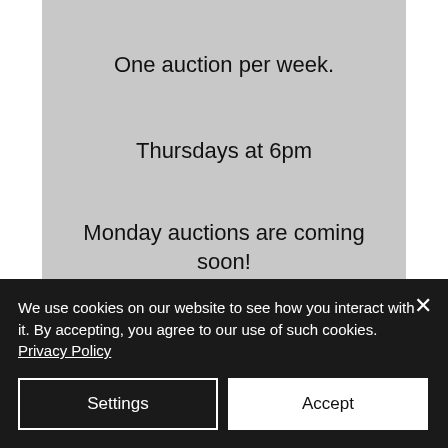One auction per week.
Thursdays at 6pm
Monday auctions are coming soon!
View Auctions
NEWSLETTER
We use cookies on our website to see how you interact with it. By accepting, you agree to our use of such cookies. Privacy Policy
Settings
Accept